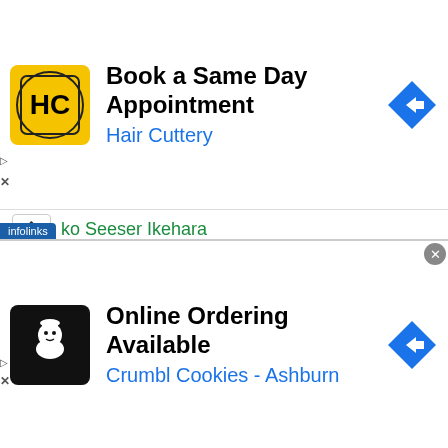[Figure (screenshot): Hair Cuttery ad banner: yellow logo with HC, headline 'Book a Same Day Appointment', subline 'Hair Cuttery', blue diamond arrow icon on right]
ko Seeser Ikehara
Kuntae Lee
Kuok Kun Ng
Kwang Koo Park
Kwanpichit Onesongchaigym
Kwanthai Sithmorseng
Kyoei
Kyohei Hosono
Kyohei-tamakosh
Kyohei Tonomoto
suke Kameda
[Figure (screenshot): Crumbl Cookies Ashburn ad banner: black logo with cookie chef icon, headline 'Online Ordering Available', subline 'Crumbl Cookies - Ashburn', blue diamond arrow icon on right, infolinks label and X close button]